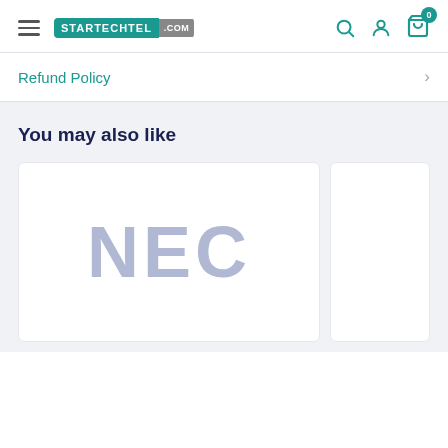STARTECHTEL.COM — Navigation header with hamburger menu, logo, search, account, and cart icons
Refund Policy
You may also like
[Figure (logo): NEC logo displayed in a product card — large light blue-grey NEC text on white background]